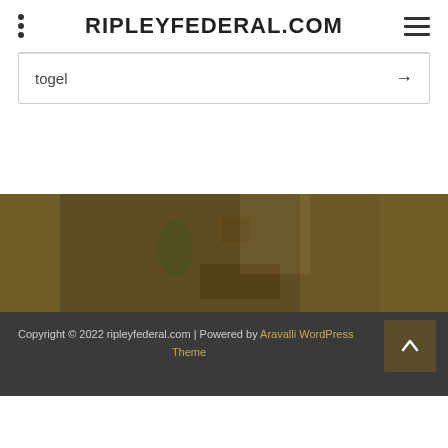RIPLEYFEDERAL.COM
togel →
[Figure (photo): Interior room photo showing a decorated living room with yellow curtains, plants, furniture, and warm lighting, used as footer background image]
Copyright © 2022 ripleyfederal.com | Powered by Aravalli WordPress Theme